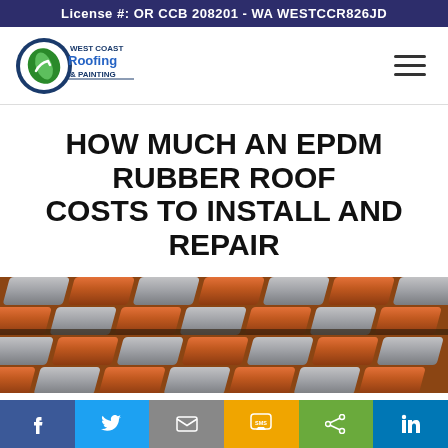License #: OR CCB 208201 - WA WESTCCR826JD
[Figure (logo): West Coast Roofing & Painting company logo with circular emblem]
HOW MUCH AN EPDM RUBBER ROOF COSTS TO INSTALL AND REPAIR
[Figure (photo): Close-up photograph of roof tiles showing orange/terracotta and metallic/silver roofing tiles arranged in rows]
Social share bar: Facebook, Twitter, Email, SMS, Share, LinkedIn